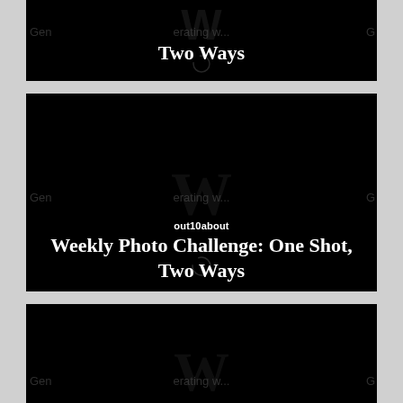[Figure (screenshot): Partial black card showing title 'Two Ways' in white serif text with WordPress watermark logo and loading spinner, on dark background]
[Figure (screenshot): Black card showing blog name 'out10about' and post title 'Weekly Photo Challenge: One Shot, Two Ways' in white text with WordPress watermark logo and loading spinner]
[Figure (screenshot): Black card showing blog name 'Melanie Ryding – Ryding2Health BLOG' and post title 'One shot, two perspectives: Thomson's bush' in white text with WordPress watermark logo and loading spinner]